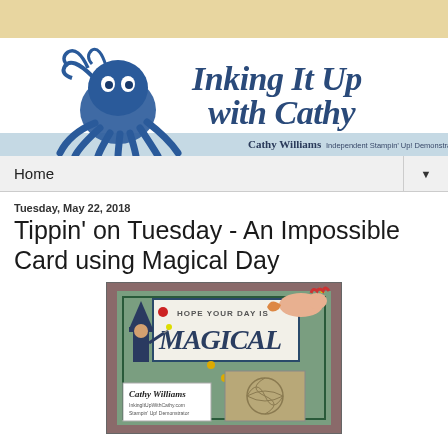[Figure (illustration): Blog header banner: blue octopus illustration on left, cursive text 'Inking It Up with Cathy' in dark blue, light blue strip at bottom with 'Cathy Williams Independent Stampin Up Demonstrator']
Home ▼
Tuesday, May 22, 2018
Tippin' on Tuesday - An Impossible Card using Magical Day
[Figure (photo): Photo of a handmade card with 'HOPE YOUR DAY IS MAGICAL' sentiment, featuring a witch figure, dragon/unicorn, decorative panels on green background, with Cathy Williams business card and decorative tile]